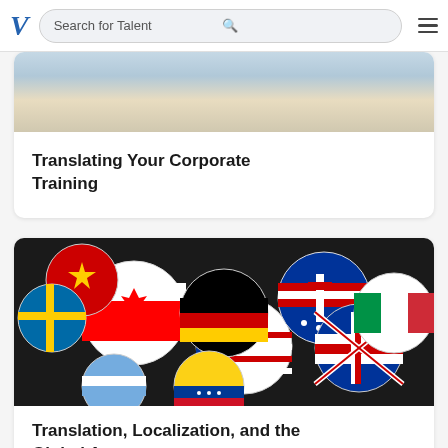Search for Talent
[Figure (photo): Partial view of a desk/workspace scene, cropped at top]
Translating Your Corporate Training
[Figure (photo): Colorful circular flag badge pins from various countries including Canada, USA, Germany, Australia, UK, China, Italy, and others piled together]
Translation, Localization, and the Global Accent